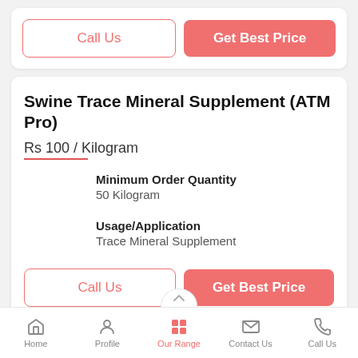[Figure (screenshot): Top action buttons: Call Us (outlined) and Get Best Price (filled red)]
Swine Trace Mineral Supplement (ATM Pro)
Rs 100 / Kilogram
Minimum Order Quantity
50 Kilogram
Usage/Application
Trace Mineral Supplement
[Figure (screenshot): Bottom action buttons: Call Us (outlined) and Get Best Price (filled red)]
Home   Profile   Our Range   Contact Us   Call Us